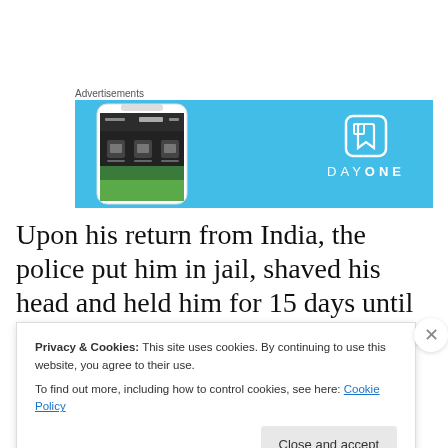Advertisements
[Figure (screenshot): Advertisement banner for Day One app showing a phone screenshot on a light blue background with the Day One logo and wordmark.]
Upon his return from India, the police put him in jail, shaved his head and held him for 15 days until his brother came to pay his way out. He is now under house arrest
Privacy & Cookies: This site uses cookies. By continuing to use this website, you agree to their use.
To find out more, including how to control cookies, see here: Cookie Policy
Close and accept